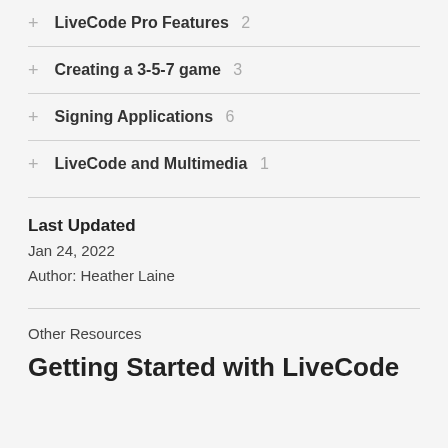+ LiveCode Pro Features 2
+ Creating a 3-5-7 game 3
+ Signing Applications 6
+ LiveCode and Multimedia 1
Last Updated
Jan 24, 2022
Author: Heather Laine
Other Resources
Getting Started with LiveCode